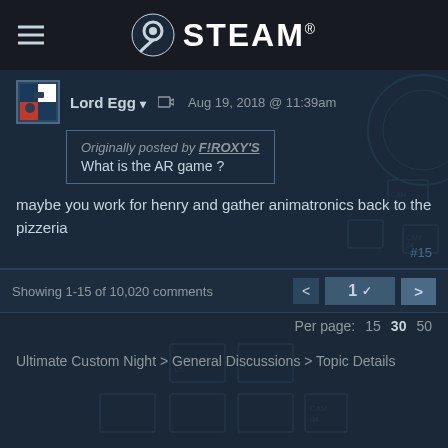STEAM
Lord Egg ▾  Aug 19, 2018 @ 11:39am
Originally posted by F!ROXY'S
What is the AR game ?
maybe you work for henry and gather animatronics back to the pizzeria
#15
Showing 1-15 of 10,020 comments   1 ▾  >
Per page: 15  30  50
Ultimate Custom Night > General Discussions > Topic Details